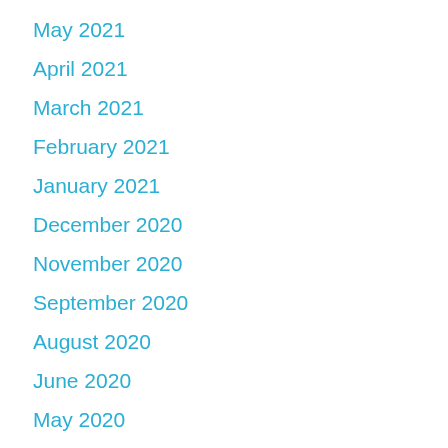May 2021
April 2021
March 2021
February 2021
January 2021
December 2020
November 2020
September 2020
August 2020
June 2020
May 2020
April 2020
March 2020
February 2020